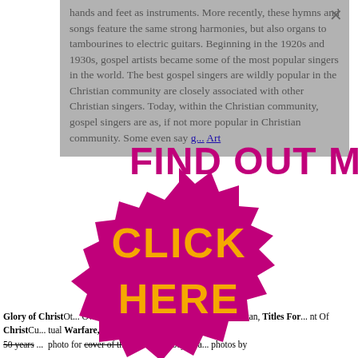hands and feet as instruments. More recently, these hymns and songs feature the same strong harmonies, but also organs to tambourines to electric guitars. Beginning in the 1920s and 1930s, gospel artists became some of the most popular singers in the world. The best gospel singers are wildly popular in the Christian community are closely associated with other Christian singers. Today, within the Christian community, gospel singers are as, if not more popular in Christian community. Some even say …
[Figure (infographic): FIND OUT MORE text banner in magenta/purple bold font, overlaid on gray background. Below it is a magenta gear/starburst badge graphic with CLICK HERE in orange bold text.]
Glory of ChristOther... Own GloryAgeContributing...mitment, to the worldChr...Satan, Titles For...nt Of ChristCu...tual Warfare, C...Spiritual Blindnes...ges 50 years ...photo for cover of the...utside Abbey Rea...photos by the...